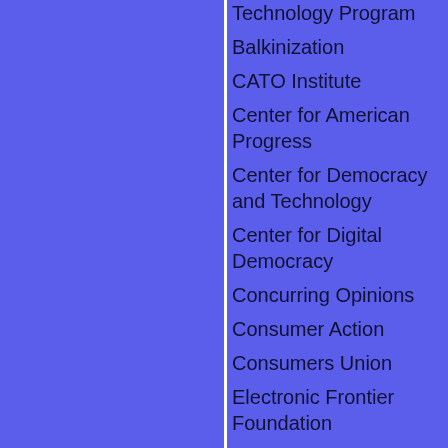about the issue of citizens taping police officers who are on-duty and in public. For example, in March, Anthony Graber videotaped
Technology Program
Balkinization
CATO Institute
Center for American Progress
Center for Democracy and Technology
Center for Digital Democracy
Concurring Opinions
Consumer Action
Consumers Union
Electronic Frontier Foundation
Electronic Privacy Information Center
Identity Project
Identity Theft Resource Center
Krebs on Security
Patient Privacy Rights